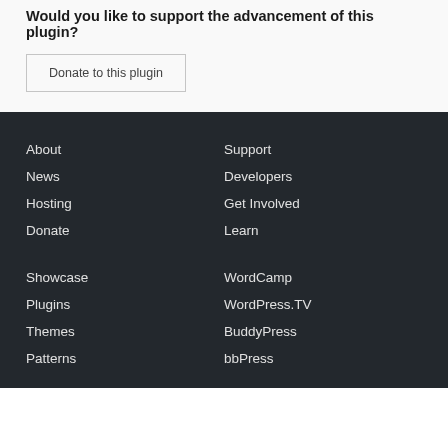Would you like to support the advancement of this plugin?
Donate to this plugin
About
News
Hosting
Donate
Support
Developers
Get Involved
Learn
Showcase
Plugins
Themes
Patterns
WordCamp
WordPress.TV
BuddyPress
bbPress